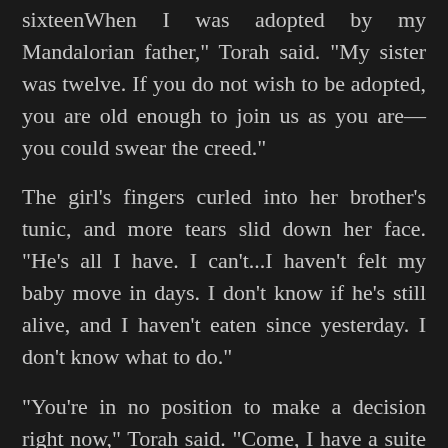sixteenWhen I was adopted by my Mandalorian father," Torah said. "My sister was twelve. If you do not wish to be adopted, you are old enough to join us as you are—you could swear the creed."
The girl's fingers curled into her brother's tunic, and more tears slid down her face. "He's all I have. I can't...I haven't felt my baby move in days. I don't know if he's still alive, and I haven't eaten since yesterday. I don't know what to do."
"You're in no position to make a decision right now," Torah said. "Come, I have a suite of rooms, and you both will stay with me while you consider your options."